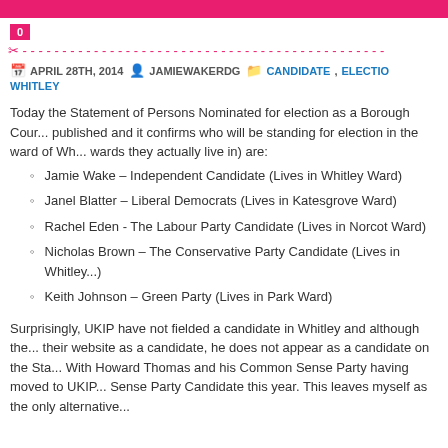0
APRIL 28TH, 2014   JAMIEWAKERDG   CANDIDATE, ELECTIO... WHITLEY
Today the Statement of Persons Nominated for election as a Borough Cour... published and it confirms who will be standing for election in the ward of Wh... wards they actually live in) are:
Jamie Wake – Independent Candidate (Lives in Whitley Ward)
Janel Blatter – Liberal Democrats (Lives in Katesgrove Ward)
Rachel Eden - The Labour Party Candidate (Lives in Norcot Ward)
Nicholas Brown – The Conservative Party Candidate (Lives in Whitley...)
Keith Johnson – Green Party (Lives in Park Ward)
Surprisingly, UKIP have not fielded a candidate in Whitley and although the... their website as a candidate, he does not appear as a candidate on the Sta... With Howard Thomas and his Common Sense Party having moved to UKIP... Sense Party Candidate this year.  This leaves myself as the only alternative...